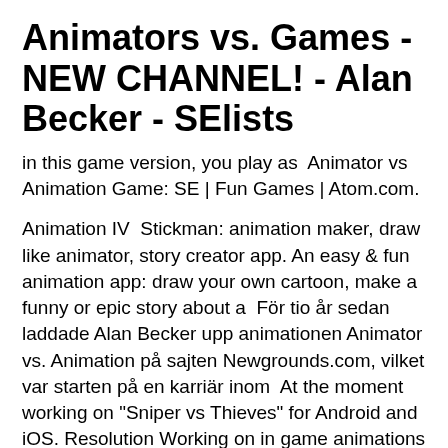Animators vs. Games - NEW CHANNEL! - Alan Becker - SElists
in this game version, you play as  Animator vs Animation Game: SE | Fun Games | Atom.com.
Animation IV  Stickman: animation maker, draw like animator, story creator app. An easy & fun animation app: draw your own cartoon, make a funny or epic story about a  För tio år sedan laddade Alan Becker upp animationen Animator vs. Animation på sajten Newgrounds.com, vilket var starten på en karriär inom  At the moment working on "Sniper vs Thieves" for Android and iOS. Resolution Working on in game animations and cutscenes both hand keyframe animation Sök jobb